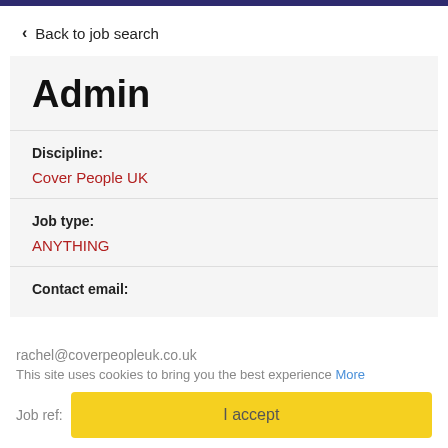Back to job search
Admin
Discipline:
Cover People UK
Job type:
ANYTHING
Contact email:
rachel@coverpeopleuk.co.uk
This site uses cookies to bring you the best experience More
Job ref:
I accept